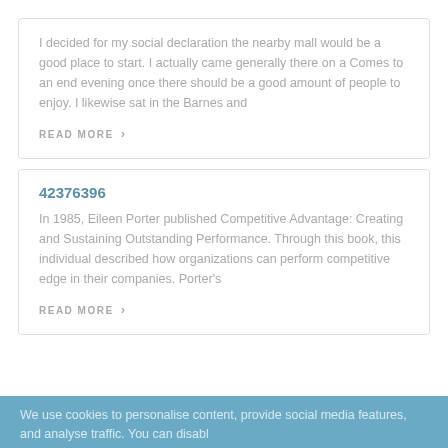I decided for my social declaration the nearby mall would be a good place to start. I actually came generally there on a Comes to an end evening once there should be a good amount of people to enjoy. I likewise sat in the Barnes and
READ MORE ›
42376396
In 1985, Eileen Porter published Competitive Advantage: Creating and Sustaining Outstanding Performance. Through this book, this individual described how organizations can perform competitive edge in their companies. Porter's
READ MORE ›
We use cookies to personalise content, provide social media features, and analyse traffic. You can disabl